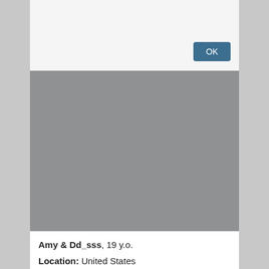[Figure (screenshot): A dialog box with an OK button on a light gray background, above a large gray rectangular area representing a blurred or placeholder image.]
Amy & Dd_sss, 19 y.o.
Location: United States
Room subject: game truth or dare [1536 tokens